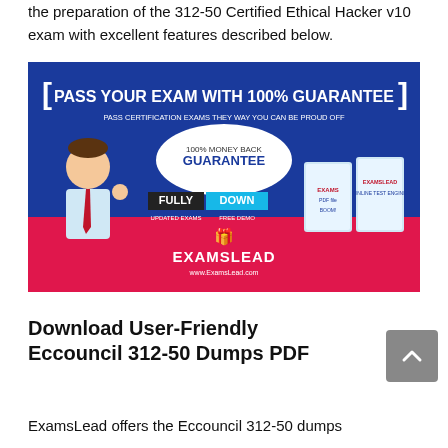the preparation of the 312-50 Certified Ethical Hacker v10 exam with excellent features described below.
[Figure (infographic): ExamsLead promotional banner: blue and pink background, cartoon character giving thumbs up, text 'PASS YOUR EXAM WITH 100% GUARANTEE', '100% MONEY BACK GUARANTEE', 'FULLY UPDATED EXAMS', 'DOWN FREE DEMO', product boxes shown, EXAMSLEAD logo and www.ExamsLead.com URL.]
Download User-Friendly Eccouncil 312-50 Dumps PDF
ExamsLead offers the Eccouncil 312-50 dumps